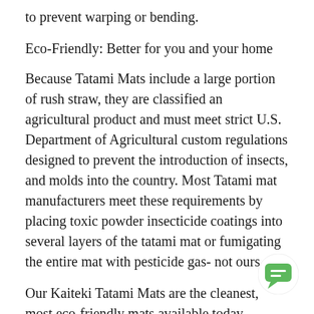to prevent warping or bending.
Eco-Friendly: Better for you and your home
Because Tatami Mats include a large portion of rush straw, they are classified an agricultural product and must meet strict U.S. Department of Agricultural custom regulations designed to prevent the introduction of insects, and molds into the country. Most Tatami mat manufacturers meet these requirements by placing toxic powder insecticide coatings into several layers of the tatami mat or fumigating the entire mat with pesticide gas- not ours.
Our Kaiteki Tatami Mats are the cleanest, most eco-friendly mats available today because they are processed and manufactured naturally. Instead of toxic pesticide powders, fumigation gas or sprays, our mats meet the U.S. Customs